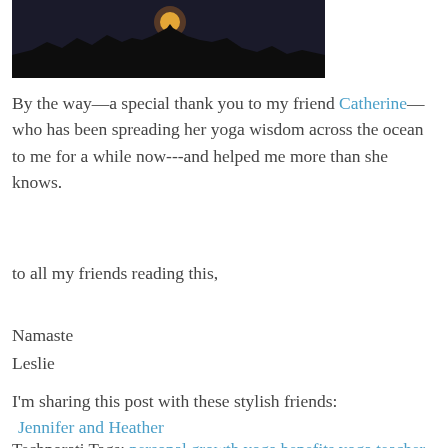[Figure (photo): Sunset silhouette photo showing a bright sun setting behind dark mountain/treeline silhouettes against a dark sky]
By the way—a special thank you to my friend Catherine—who has been spreading her yoga wisdom across the ocean to me for a while now---and helped me more than she knows.
to all my friends reading this,
Namaste
Leslie
I'm sharing this post with these stylish friends:
Jennifer and Heather
Technorati Tags: personal growth yoga benefits yoga teacher